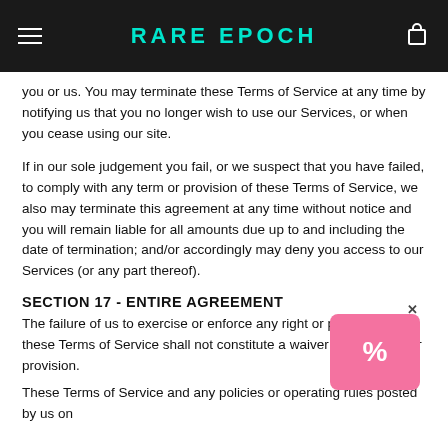RARE EPOCH
you or us. You may terminate these Terms of Service at any time by notifying us that you no longer wish to use our Services, or when you cease using our site.
If in our sole judgement you fail, or we suspect that you have failed, to comply with any term or provision of these Terms of Service, we also may terminate this agreement at any time without notice and you will remain liable for all amounts due up to and including the date of termination; and/or accordingly may deny you access to our Services (or any part thereof).
SECTION 17 - ENTIRE AGREEMENT
The failure of us to exercise or enforce any right or provision of these Terms of Service shall not constitute a waiver of such right or provision.
These Terms of Service and any policies or operating rules posted by us on